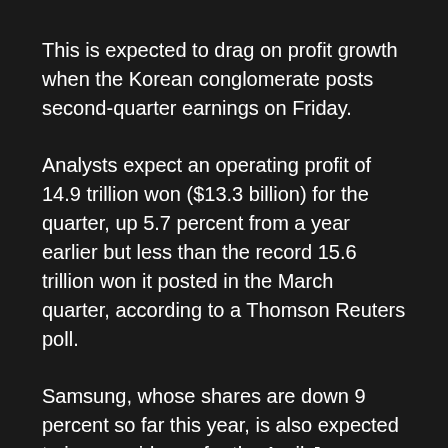This is expected to drag on profit growth when the Korean conglomerate posts second-quarter earnings on Friday.
Analysts expect an operating profit of 14.9 trillion won ($13.3 billion) for the quarter, up 5.7 percent from a year earlier but less than the record 15.6 trillion won it posted in the March quarter, according to a Thomson Reuters poll.
Samsung, whose shares are down 9 percent so far this year, is also expected to issue guidance for the April-June quarter on Friday, giving estimates for revenue and operating profit. It will disclose detailed results in late July.